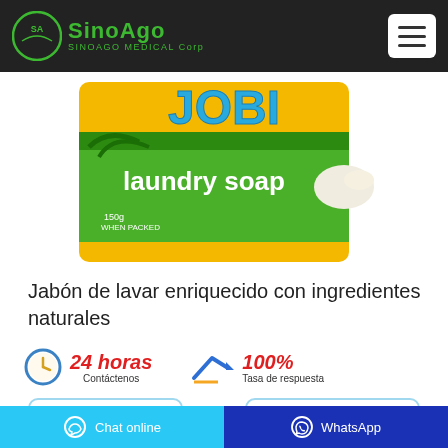[Figure (logo): SinoAgo Medical Corp logo with green circular emblem and green text on black navbar]
[Figure (photo): JOBI laundry soap product package, yellow/green box with coconut and natural ingredients imagery, partially cropped showing top portion]
Jabón de lavar enriquecido con ingredientes naturales
24 horas Contáctenos
100% Tasa de respuesta
whatsapp
Contáctenos
Chat online
WhatsApp